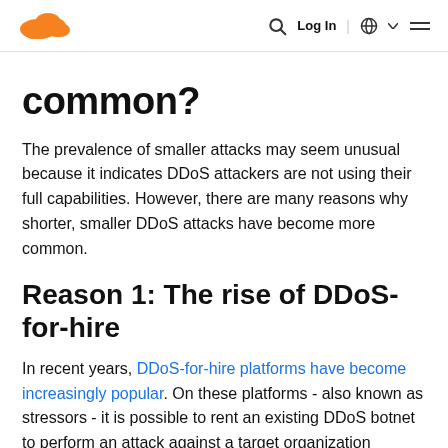Cloudflare logo | Search | Log In | Globe | Menu
common?
The prevalence of smaller attacks may seem unusual because it indicates DDoS attackers are not using their full capabilities. However, there are many reasons why shorter, smaller DDoS attacks have become more common.
Reason 1: The rise of DDoS-for-hire
In recent years, DDoS-for-hire platforms have become increasingly popular. On these platforms - also known as stressors - it is possible to rent an existing DDoS botnet to perform an attack against a target organization